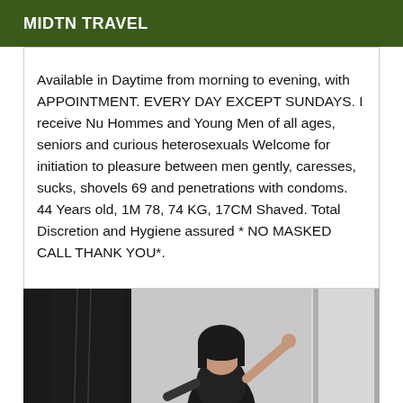MIDTN TRAVEL
Available in Daytime from morning to evening, with APPOINTMENT. EVERY DAY EXCEPT SUNDAYS. I receive Nu Hommes and Young Men of all ages, seniors and curious heterosexuals Welcome for initiation to pleasure between men gently, caresses, sucks, shovels 69 and penetrations with condoms. 44 Years old, 1M 78, 74 KG, 17CM Shaved. Total Discretion and Hygiene assured * NO MASKED CALL THANK YOU*.
[Figure (photo): A person in dark lingerie posing in front of a door/mirror with dark hair.]